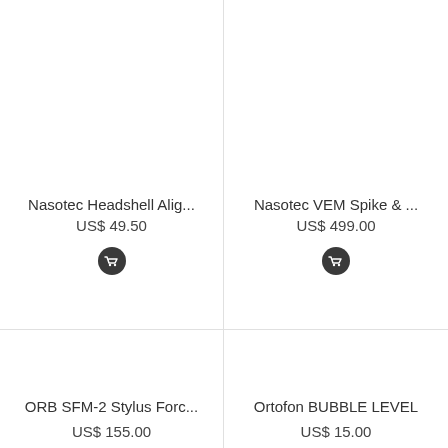Nasotec Headshell Alig...
US$ 49.50
Nasotec VEM Spike & ...
US$ 499.00
ORB SFM-2 Stylus Forc...
Ortofon BUBBLE LEVEL